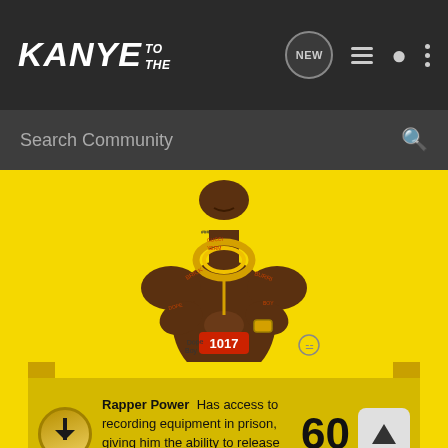KANYE TO THE
Search Community
[Figure (illustration): Stylized illustration of a tattooed rapper with praying hands, wearing a gold chain necklace, with '1017' on his waist and tattoos covering his arms and chest, on yellow background]
Rapper Power  Has access to recording equipment in prison, giving him the ability to release mix tapes while incarcerated.  60
Rapper Weakness  Has constant run-ins with the law causing him to not enjoy the fruits of his trap god-like labor.  70